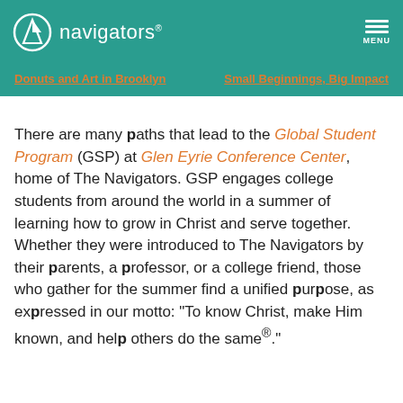navigators
MENU
Donuts and Art in Brooklyn
Small Beginnings, Big Impact
There are many paths that lead to the Global Student Program (GSP) at Glen Eyrie Conference Center, home of The Navigators. GSP engages college students from around the world in a summer of learning how to grow in Christ and serve together. Whether they were introduced to The Navigators by their parents, a professor, or a college friend, those who gather for the summer find a unified purpose, as expressed in our motto: “To know Christ, make Him known, and help others do the same®.”